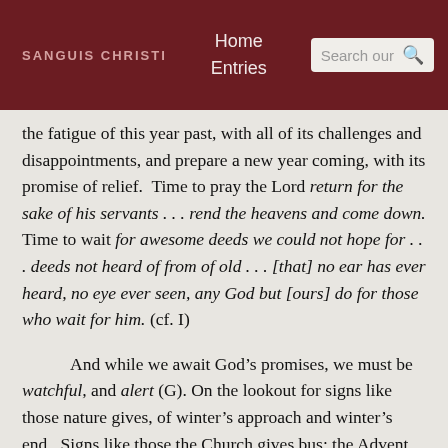SANGUIS CHRISTI | Home Entries | Search our
the fatigue of this year past, with all of its challenges and disappointments, and prepare a new year coming, with its promise of relief. Time to pray the Lord return for the sake of his servants . . . rend the heavens and come down. Time to wait for awesome deeds we could not hope for . . . deeds not heard of from of old . . . [that] no ear has ever heard, no eye ever seen, any God but [ours] do for those who wait for him. (cf. I)
And while we await God’s promises, we must be watchful, and alert (G). On the lookout for signs like those nature gives, of winter’s approach and winter’s end. Signs like those the Church gives bus: the Advent wreath with its light increasing week by week. And, above all, the Eucharist, where Christ comes now, till he comes again in glory: signs the day of our Lord Jesus Christ draws near (II).
It feats fully for the its an a theme at f...